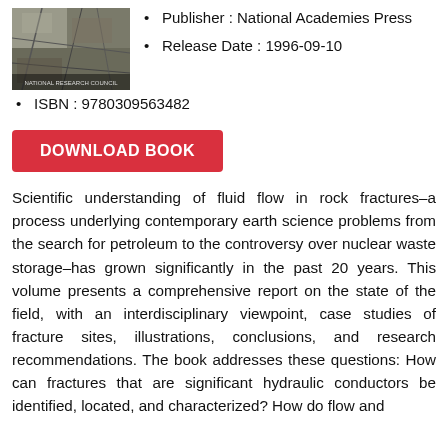[Figure (photo): Book cover image showing rock fractures, with text 'NATIONAL RESEARCH COUNCIL' at the bottom]
Publisher : National Academies Press
Release Date : 1996-09-10
ISBN : 9780309563482
DOWNLOAD BOOK
Scientific understanding of fluid flow in rock fractures–a process underlying contemporary earth science problems from the search for petroleum to the controversy over nuclear waste storage–has grown significantly in the past 20 years. This volume presents a comprehensive report on the state of the field, with an interdisciplinary viewpoint, case studies of fracture sites, illustrations, conclusions, and research recommendations. The book addresses these questions: How can fractures that are significant hydraulic conductors be identified, located, and characterized? How do flow and